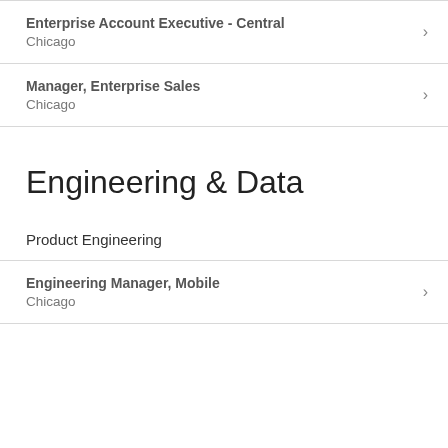Enterprise Account Executive - Central
Chicago
Manager, Enterprise Sales
Chicago
Engineering & Data
Product Engineering
Engineering Manager, Mobile
Chicago